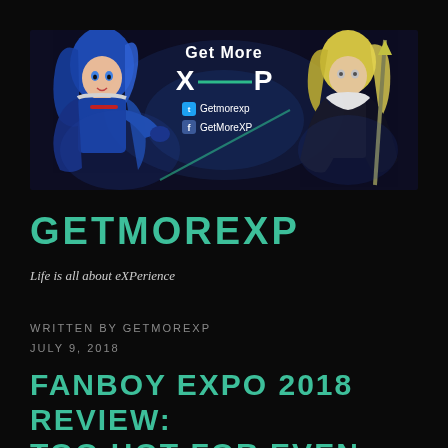[Figure (illustration): GetMoreXP banner showing two anime-style characters (blue-haired female on left, blonde male on right) with branding text 'Get More XP' and social media handles 'Getmorexp' (Twitter) and 'GetMoreXP' (Facebook)]
GETMOREXP
Life is all about eXPerience
WRITTEN BY GETMOREXP
JULY 9, 2018
FANBOY EXPO 2018 REVIEW: TOO HOT FOR EVEN HELLBOY